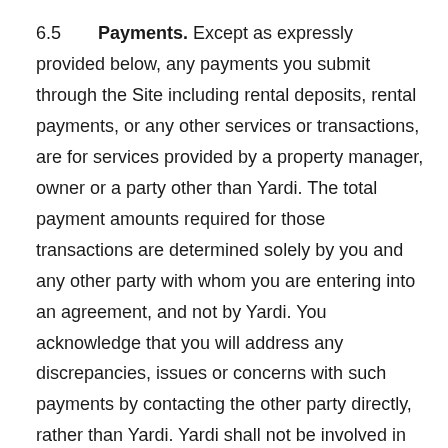6.5 Payments. Except as expressly provided below, any payments you submit through the Site including rental deposits, rental payments, or any other services or transactions, are for services provided by a property manager, owner or a party other than Yardi. The total payment amounts required for those transactions are determined solely by you and any other party with whom you are entering into an agreement, and not by Yardi. You acknowledge that you will address any discrepancies, issues or concerns with such payments by contacting the other party directly, rather than Yardi. Yardi shall not be involved in such issues except where the issue is solely attributable to a malfunction or error occurring on the Site or in connection with the Services. However, Users may take advantage of certain Services that have a charge associated with them